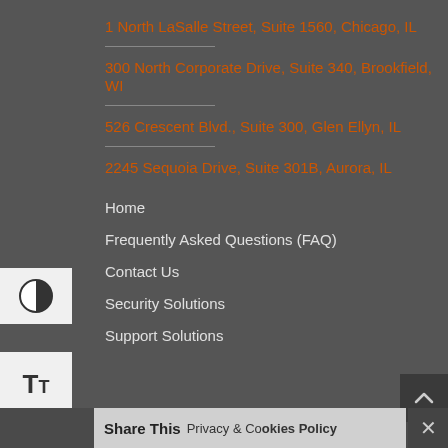1 North LaSalle Street, Suite 1560, Chicago, IL
300 North Corporate Drive, Suite 340, Brookfield, WI
526 Crescent Blvd., Suite 300, Glen Ellyn, IL
2245 Sequoia Drive, Suite 301B, Aurora, IL
Home
Frequently Asked Questions (FAQ)
Contact Us
Security Solutions
Support Solutions
IT Strategy
Client Technical Help
Share This
Privacy & Cookies Policy